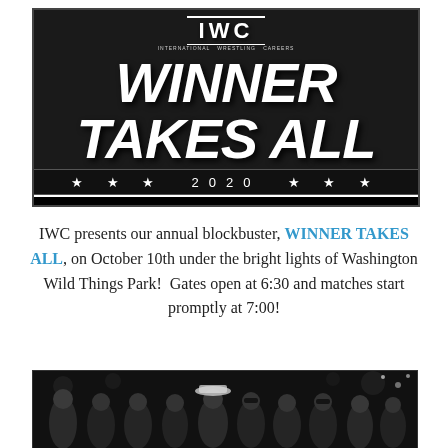[Figure (illustration): IWC Winner Takes All 2020 event promotional poster. Black background with distressed texture. 'IWC International Wrestling Careers' logo at top. Large bold white text reading 'WINNER TAKES ALL' with stars and '2020' below. Bottom bar reads '10.10.2020 ★ WASHINGTON WILD THINGS PARK']
IWC presents our annual blockbuster, WINNER TAKES ALL, on October 10th under the bright lights of Washington Wild Things Park!  Gates open at 6:30 and matches start promptly at 7:00!
[Figure (photo): Group photo of wrestlers/performers in a row against a dark background with bokeh lights.]